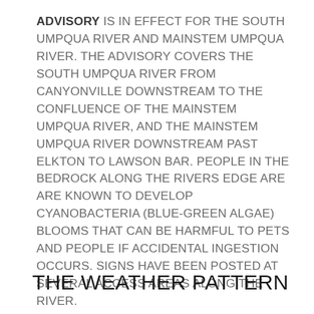ADVISORY IS IN EFFECT FOR THE SOUTH UMPQUA RIVER AND MAINSTEM UMPQUA RIVER. THE ADVISORY COVERS THE SOUTH UMPQUA RIVER FROM CANYONVILLE DOWNSTREAM TO THE CONFLUENCE OF THE MAINSTEM UMPQUA RIVER, AND THE MAINSTEM UMPQUA RIVER DOWNSTREAM PAST ELKTON TO LAWSON BAR. PEOPLE IN THE BEDROCK ALONG THE RIVERS EDGE ARE ARE KNOWN TO DEVELOP CYANOBACTERIA (BLUE-GREEN ALGAE) BLOOMS THAT CAN BE HARMFUL TO PETS AND PEOPLE IF ACCIDENTAL INGESTION OCCURS. SIGNS HAVE BEEN POSTED AT SEVERAL ACCESS AREAS ALONG THE RIVER.
THE WEATHER PATTERN